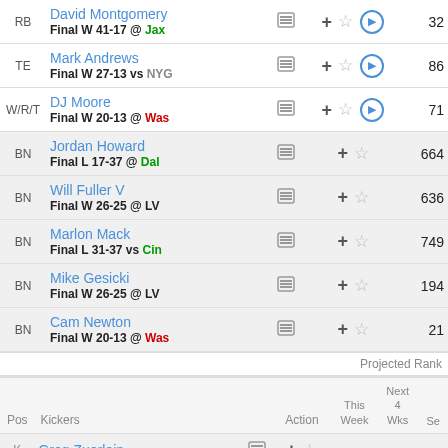| Pos | Player |  | Action | Score |
| --- | --- | --- | --- | --- |
| RB | David Montgomery
Final W 41-17 @ Jax |  | + ☆ ▶ | 32 |
| TE | Mark Andrews
Final W 27-13 vs NYG |  | + ☆ ▶ | 86 |
| W/R/T | DJ Moore
Final W 20-13 @ Was |  | + ☆ ▶ | 71 |
| BN | Jordan Howard
Final L 17-37 @ Dal |  | + ☆ | 664 |
| BN | Will Fuller V
Final W 26-25 @ LV |  | + ☆ | 636 |
| BN | Marlon Mack
Final L 31-37 vs Cin |  | + ☆ | 749 |
| BN | Mike Gesicki
Final W 26-25 @ LV |  | + ☆ | 194 |
| BN | Cam Newton
Final W 20-13 @ Was |  | + ☆ | 21 |
Projected Rank
| Pos | Kickers | Action | This Week | Next 4 Wks | Se |
| --- | --- | --- | --- | --- | --- |
| K | Greg Zuerlein |  |  |  |  |